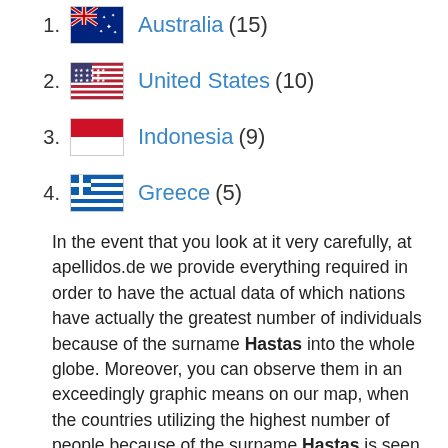1. Australia (15)
2. United States (10)
3. Indonesia (9)
4. Greece (5)
In the event that you look at it very carefully, at apellidos.de we provide everything required in order to have the actual data of which nations have actually the greatest number of individuals because of the surname Hastas into the whole globe. Moreover, you can observe them in an exceedingly graphic means on our map, when the countries utilizing the highest number of people because of the surname Hastas is seen painted in a more powerful tone. In this way, and with just one look, it is possible to locate in which nations Hastas is a very common surname, as well as in which countries Hastas is...